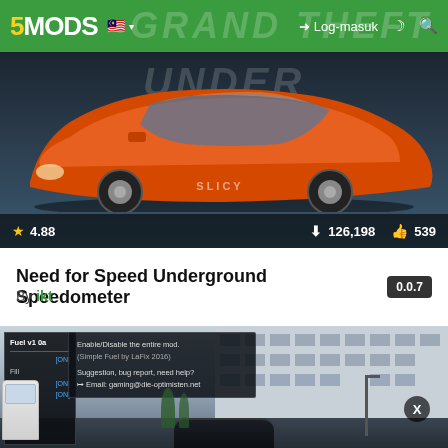5MODS | Log-masuk
[Figure (screenshot): Need for Speed Underground themed mod preview showing an orange sports car with star rating 4.88, 126,198 downloads, 539 likes]
Need for Speed Underground Speedometer
By ikt
[Figure (screenshot): GTA V mod screenshot showing a fuel UI menu overlay with settings panel and city street view in background with X close button]